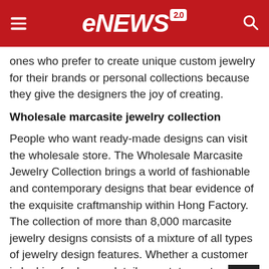eNEWS 2.0
ones who prefer to create unique custom jewelry for their brands or personal collections because they give the designers the joy of creating.
Wholesale marcasite jewelry collection
People who want ready-made designs can visit the wholesale store. The Wholesale Marcasite Jewelry Collection brings a world of fashionable and contemporary designs that bear evidence of the exquisite craftmanship within Hong Factory. The collection of more than 8,000 marcasite jewelry designs consists of a mixture of all types of jewelry design features. Whether a customer is looking for luxury details, or statement making or playful colors, they will find them there.
The Wholesale Marcasite Jewelry Collection has been